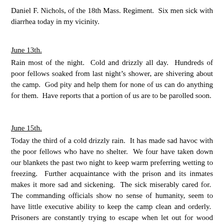Daniel F. Nichols, of the 18th Mass. Regiment.  Six men sick with diarrhea today in my vicinity.
June 13th.
Rain most of the night.  Cold and drizzly all day.  Hundreds of poor fellows soaked from last night's shower, are shivering about the camp.  God pity and help them for none of us can do anything for them.  Have reports that a portion of us are to be parolled soon.
June 15th.
Today the third of a cold drizzly rain.  It has made sad havoc with the poor fellows who have no shelter.  We four have taken down our blankets the past two night to keep warm preferring wetting to freezing.  Further acquaintance with the prison and its inmates makes it more sad and sickening.  The sick miserably cared for.  The commanding officials show no sense of humanity, seem to have little executive ability to keep the camp clean and orderly.  Prisoners are constantly trying to escape when let out for wood etc.  Seven escaped from the bakery yesterday and night before last eighteen tunneled out under the stockade.  Not one in a hundred get to the land of liberty for the pack of blood hounds are ever ready for duty and some of the runaways find they have sharp teeth.  Drew